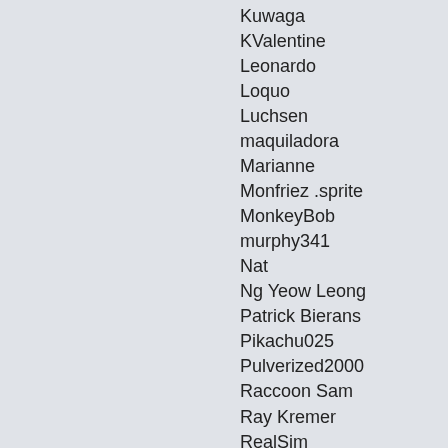Kuwaga
KValentine
Leonardo
Loquo
Luchsen
maquiladora
Marianne
Monfriez .sprite
MonkeyBob
murphy341
Nat
Ng Yeow Leong
Patrick Bierans
Pikachu025
Pulverized2000
Raccoon Sam
Ray Kremer
RealSim
Reidex
Rick Philips
Rob Budrick
rocktyt
rouken
SadisticMystic
SamsGFX
Sander de Long